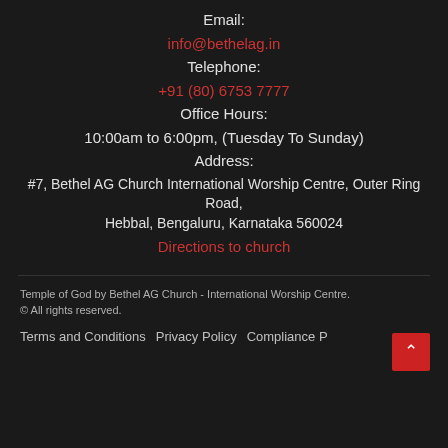Email:
info@bethelag.in
Telephone:
+91 (80) 6753 7777
Office Hours:
10:00am to 6:00pm, (Tuesday To Sunday)
Address:
#7, Bethel AG Church International Worship Centre, Outer Ring Road, Hebbal, Bengaluru, Karnataka 560024
Directions to church
Temple of God by Bethel AG Church - International Worship Centre.
© All rights reserved.
Terms and Conditions   Privacy Policy   Compliance Policies